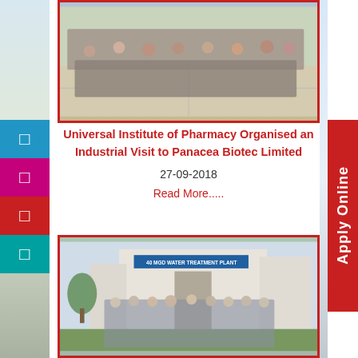[Figure (photo): Group photo of pharmacy students standing outdoors on a paved area]
Universal Institute of Pharmacy Organised an Industrial Visit to Panacea Biotec Limited
27-09-2018
Read More.....
[Figure (photo): Group photo of students standing in front of a building with a banner reading '40 MGD WATER TREATMENT PLANT']